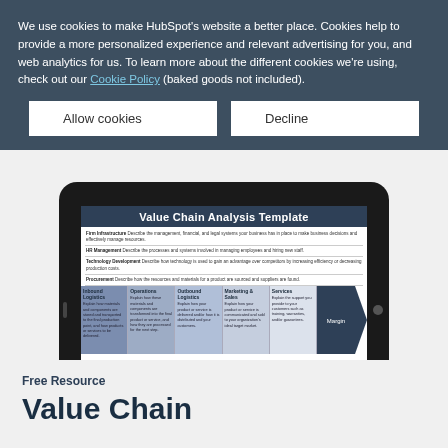We use cookies to make HubSpot’s website a better place. Cookies help to provide a more personalized experience and relevant advertising for you, and web analytics for us. To learn more about the different cookies we’re using, check out our Cookie Policy (baked goods not included).
Allow cookies
Decline
[Figure (screenshot): A tablet device showing a HubSpot Value Chain Analysis Template, with a dark navy header, support activity rows (Firm Infrastructure, HR Management, Technology Development, Procurement), and primary activity columns (Inbound Logistics, Operations, Outbound Logistics, Marketing & Sales, Services) with a Margin arrow on the right.]
Free Resource
Value Chain